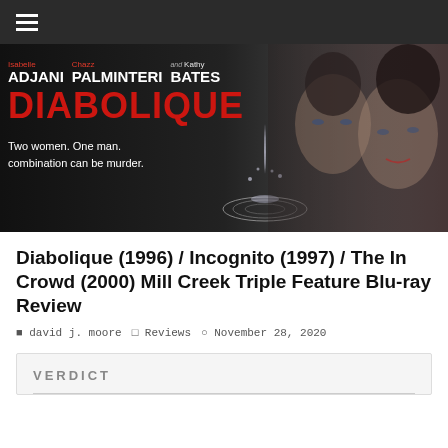☰ (navigation menu)
[Figure (photo): Movie banner for Diabolique (1996) showing cast names Isabelle Adjani, Chazz Palminteri, and Kathy Bates, the red movie title DIABOLIQUE, tagline 'Two women. One man. combination can be murder.', a water drop graphic, and two actresses' faces on the right side against a dark background.]
Diabolique (1996) / Incognito (1997) / The In Crowd (2000) Mill Creek Triple Feature Blu-ray Review
david j. moore   Reviews   November 28, 2020
VERDICT